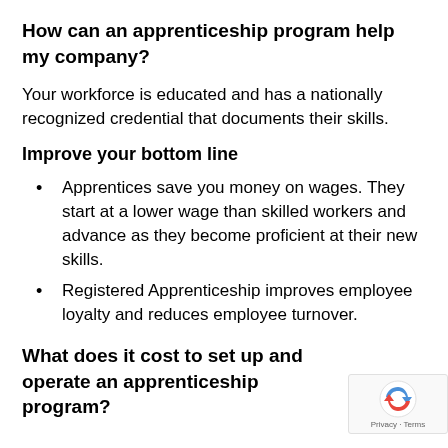How can an apprenticeship program help my company?
Your workforce is educated and has a nationally recognized credential that documents their skills.
Improve your bottom line
Apprentices save you money on wages. They start at a lower wage than skilled workers and advance as they become proficient at their new skills.
Registered Apprenticeship improves employee loyalty and reduces employee turnover.
What does it cost to set up and operate an apprenticeship program?